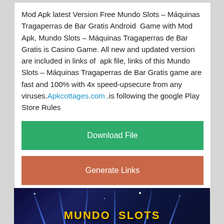Mod Apk latest Version Free Mundo Slots – Máquinas Tragaperras de Bar Gratis Android Game with Mod Apk, Mundo Slots – Máquinas Tragaperras de Bar Gratis is Casino Game. All new and updated version are included in links of apk file, links of this Mundo Slots – Máquinas Tragaperras de Bar Gratis game are fast and 100% with 4x speed-upsecure from any viruses. Apkcottages.com .is following the google Play Store Rules
[Figure (other): Green Download File button]
[Figure (other): Brown/terracotta Generate Links button]
[Figure (screenshot): Dark blue background with light beams and gold text, appears to be a casino/slots game screenshot]